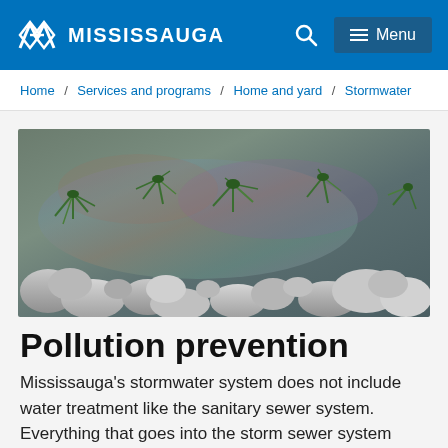Mississauga — Header navigation with logo, search, and menu
Home / Services and programs / Home and yard / Stormwater
[Figure (photo): Aerial view of a waterway with rocks along the shoreline and aquatic plants emerging from the water, showing an oil sheen on the water surface]
Pollution prevention
Mississauga's stormwater system does not include water treatment like the sanitary sewer system. Everything that goes into the storm sewer system ends up in the